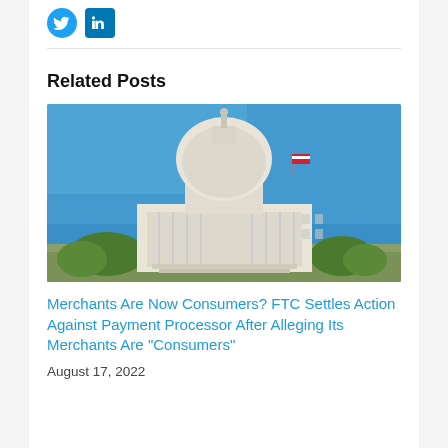[Figure (other): Social media icons: Twitter (globe-style blue bird icon) and LinkedIn blue square icon]
Related Posts
[Figure (photo): Photograph of the United States Capitol building dome against a clear blue sky, with green trees and flag visible]
Merchants Are Now Consumers? FTC Settles Action Against Payment Processor After Alleging Its Merchants Are "Consumers"
August 17, 2022